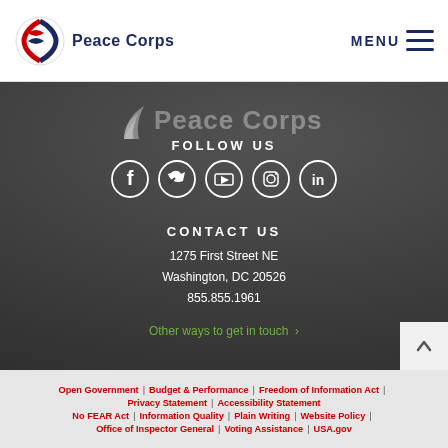Peace Corps | MENU
[Figure (logo): Peace Corps white logo on dark background]
FOLLOW US
[Figure (infographic): Social media icons: Facebook, Twitter, YouTube, Instagram, LinkedIn]
CONTACT US
1275 First Street NE
Washington, DC 20526
855.855.1961
Other ways to get in touch >
Open Government | Budget & Performance | Freedom of Information Act | Privacy Statement | Accessibility Statement | No FEAR Act | Information Quality | Plain Writing | Website Policy | Office of Inspector General | Voting Assistance | USA.gov